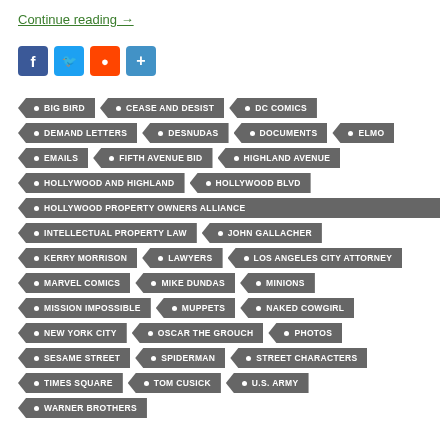Continue reading →
[Figure (infographic): Social media sharing icons: Facebook, Twitter, Reddit, Share]
BIG BIRD
CEASE AND DESIST
DC COMICS
DEMAND LETTERS
DESNUDAS
DOCUMENTS
ELMO
EMAILS
FIFTH AVENUE BID
HIGHLAND AVENUE
HOLLYWOOD AND HIGHLAND
HOLLYWOOD BLVD
HOLLYWOOD PROPERTY OWNERS ALLIANCE
INTELLECTUAL PROPERTY LAW
JOHN GALLACHER
KERRY MORRISON
LAWYERS
LOS ANGELES CITY ATTORNEY
MARVEL COMICS
MIKE DUNDAS
MINIONS
MISSION IMPOSSIBLE
MUPPETS
NAKED COWGIRL
NEW YORK CITY
OSCAR THE GROUCH
PHOTOS
SESAME STREET
SPIDERMAN
STREET CHARACTERS
TIMES SQUARE
TOM CUSICK
U.S. ARMY
WARNER BROTHERS